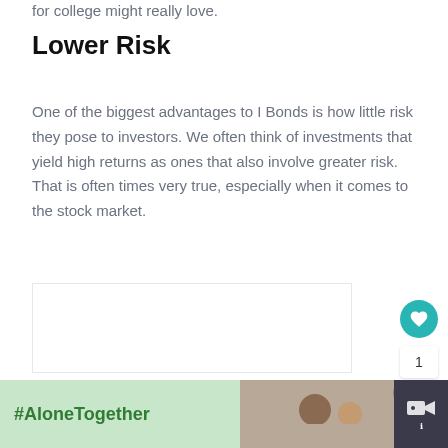for college might really love.
Lower Risk
One of the biggest advantages to I Bonds is how little risk they pose to investors. We often think of investments that yield high returns as ones that also involve greater risk. That is often times very true, especially when it comes to the stock market.
[Figure (other): Advertisement banner at bottom: dark background with green section showing '#AloneTogether' hashtag in green text, and a photo of a man and child waving, with a close button and video logo.]